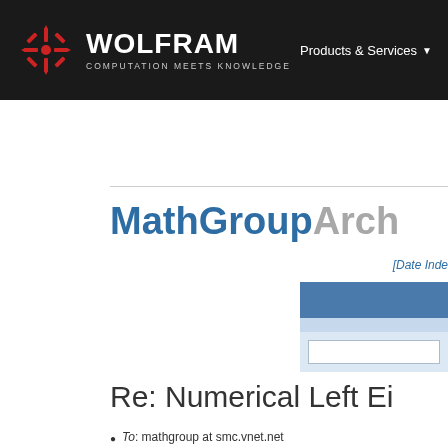WOLFRAM COMPUTATION MEETS KNOWLEDGE | Products & Services
[Figure (logo): Wolfram logo with red snowflake/star icon and WOLFRAM text with COMPUTATION MEETS KNOWLEDGE tagline]
MathGroupArchive
[Date Index]
Re: Numerical Left Ei
To: mathgroup at smc.vnet.net
Subject: [mg6492] Re: [mg6369] Numerica
From: "Gordon A. Fox" <gfox at ucsd.edu>